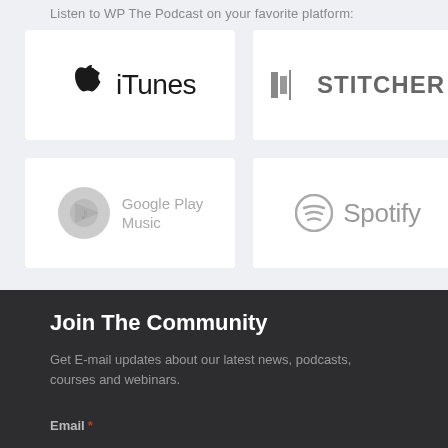Listen to WP The Podcast on your favorite platform:
[Figure (logo): iTunes logo with Apple icon]
[Figure (logo): Stitcher logo]
[Figure (logo): Google Play Music logo]
[Figure (logo): Spotify logo]
Join The Community
Get E-mail updates about our latest news, podcasts, courses and webinars.
Email *